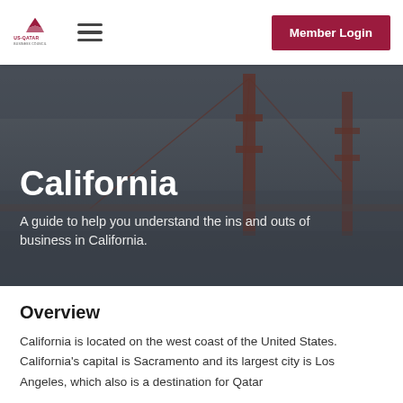US-Qatar Business Council | Member Login
[Figure (photo): Hero image of the Golden Gate Bridge in fog with dark overlay, featuring the text 'California' and subtitle 'A guide to help you understand the ins and outs of business in California.']
California
A guide to help you understand the ins and outs of business in California.
Overview
California is located on the west coast of the United States. California's capital is Sacramento and its largest city is Los Angeles, which also is a destination for Qatar